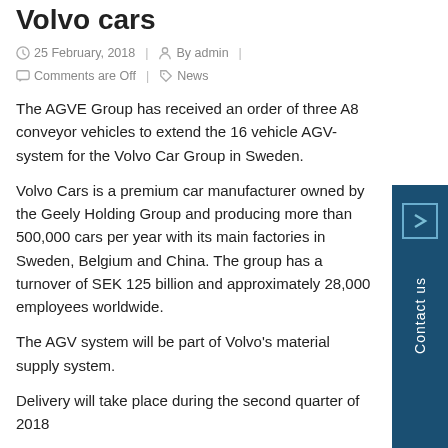Volvo cars
25 February, 2018 | By admin | Comments are Off | News
The AGVE Group has received an order of three A8 conveyor vehicles to extend the 16 vehicle AGV-system for the Volvo Car Group in Sweden.
Volvo Cars is a premium car manufacturer owned by the Geely Holding Group and producing more than 500,000 cars per year with its main factories in Sweden, Belgium and China. The group has a turnover of SEK 125 billion and approximately 28,000 employees worldwide.
The AGV system will be part of Volvo’s material supply system.
Delivery will take place during the second quarter of 2018